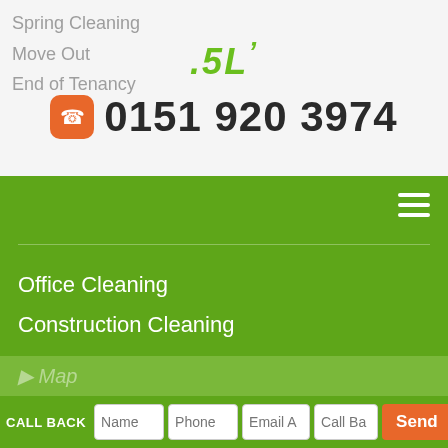[Figure (logo): Green italic stylized '.SL' logo text]
0151 920 3974
[Figure (screenshot): Green navigation bar with hamburger menu icon on right]
Office Cleaning
Construction Cleaning
Communal Area Cleaning
Insurance work
Student Accommodation
Estate Agents
We’re here
CALL BACK
[Figure (map): Partial map view at bottom of page]